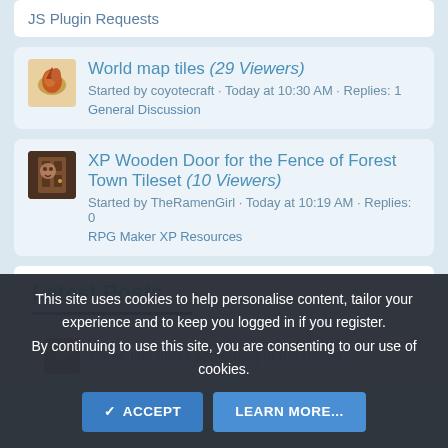JS Plugin Requests
World map tiles (29 Viewers)
Started by coyotecraft · Today at 10:30 AM · Replies: 1
General Discussion
XP Wooden Door for the Fence of Forest Town Tileset (10 Viewers)
Started by TheRamenGirl · Today at 10:19 AM · Replies: 0
RPG Maker XP Resources
Latest Posts
This site uses cookies to help personalise content, tailor your experience and to keep you logged in if you register. By continuing to use this site, you are consenting to our use of cookies.